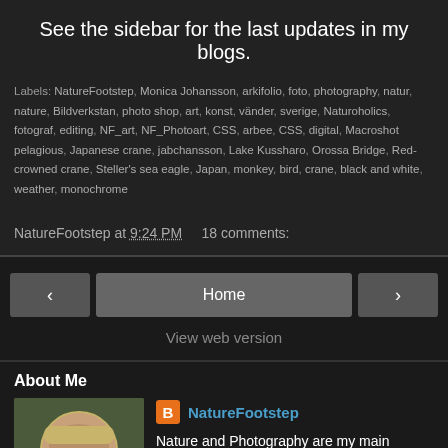See the sidebar for the last updates in my blogs.
Labels: NatureFootstep, Monica Johansson, arkifolio, foto, photography, natur, nature, Bildverkstan, photo shop, art, konst, vänder, sverige, Naturoholics, fotograf, editing, NF_art, NF_Photoart, CSS, arbee, CSS, digital, Macroshot, pelagious, Japanese crane, jabchansson, Lake Kussharo, Orossa Bridge, Red-crowned crane, Steller's sea eagle, Japan, monkey, bird, crane, black and white, weather, monochrome
NatureFootstep at 9:24 PM   18 comments:
Home
View web version
About Me
NatureFootstep
Nature and Photography are my main interests.
View my complete profile
Powered by Blogger.